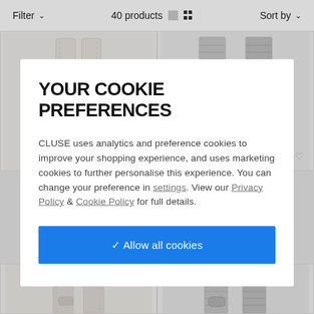Filter ∨   40 products   Sort by ∨
[Figure (photo): E-commerce product listing page showing watch straps, partially obscured by a cookie consent modal overlay]
YOUR COOKIE PREFERENCES
CLUSE uses analytics and preference cookies to improve your shopping experience, and uses marketing cookies to further personalise this experience. You can change your preference in settings. View our Privacy Policy & Cookie Policy for full details.
✓ Allow all cookies